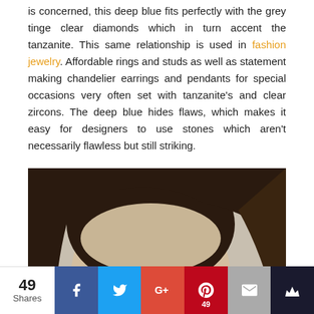is concerned, this deep blue fits perfectly with the grey tinge clear diamonds which in turn accent the tanzanite. This same relationship is used in fashion jewelry. Affordable rings and studs as well as statement making chandelier earrings and pendants for special occasions very often set with tanzanite's and clear zircons. The deep blue hides flaws, which makes it easy for designers to use stones which aren't necessarily flawless but still striking.
[Figure (photo): Close-up portrait of a dark-haired woman wearing a dark navy/black jacket, wearing a drop earring with a dark gemstone, looking to the side with smoky eye makeup.]
49 Shares